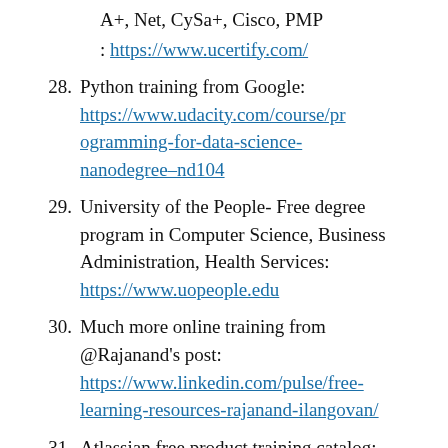A+, Net, CySa+, Cisco, PMP : https://www.ucertify.com/
28. Python training from Google: https://www.udacity.com/course/programming-for-data-science-nanodegree--nd104
29. University of the People- Free degree program in Computer Science, Business Administration, Health Services: https://www.uopeople.edu
30. Much more online training from @Rajanand's post: https://www.linkedin.com/pulse/free-learning-resources-rajanand-ilangovan/
31. Atlassian free product training catalog: https://training.atlassian.com/free